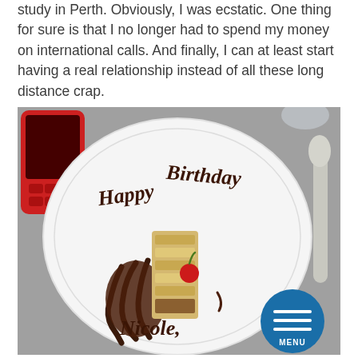study in Perth. Obviously, I was ecstatic. One thing for sure is that I no longer had to spend my money on international calls. And finally, I can at least start having a real relationship instead of all these long distance crap.
[Figure (photo): A photo of a white plate with 'Happy Birthday Nicole' written in chocolate sauce, with a dessert slice topped with a cherry in the center. A red mobile phone is visible in the top-left corner, and a spoon on the right. A blue circular MENU button overlay is in the bottom-right corner.]